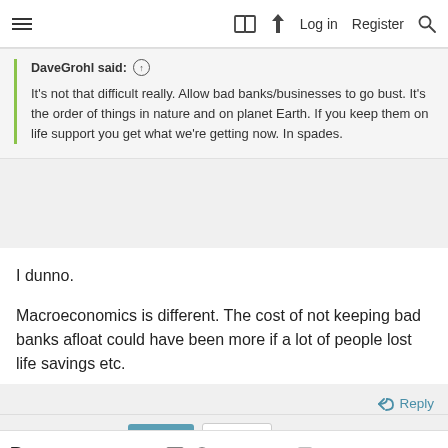≡   □  ⚡  Log in   Register  🔍
DaveGrohl said: ↑

It's not that difficult really. Allow bad banks/businesses to go bust. It's the order of things in nature and on planet Earth. If you keep them on life support you get what we're getting now. In spades.
I dunno.

Macroeconomics is different. The cost of not keeping bad banks afloat could have been more if a lot of people lost life savings etc.
↩ Reply
1 of 9   Next ▶   ▶▶
B  I  ⋮  ≡▾  ⋮  🔗  🖼  ☺  ⋮  ↺  ⋮  🔍